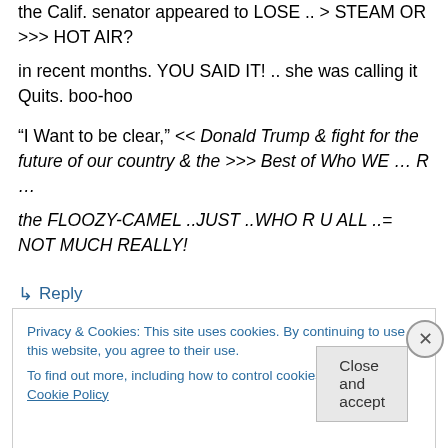the Calif. senator appeared to LOSE .. > STEAM OR >>> HOT AIR?
in recent months. YOU SAID IT! .. she was calling it Quits. boo-hoo

"I Want to be clear," << Donald Trump & fight for the future of our country & the >>> Best of Who WE … R …
the FLOOZY-CAMEL ..JUST ..WHO R U ALL ..= NOT MUCH REALLY!
↳ Reply
Privacy & Cookies: This site uses cookies. By continuing to use this website, you agree to their use.
To find out more, including how to control cookies, see here: Cookie Policy
Close and accept